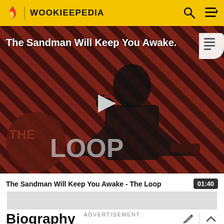WOOKIEEPEDIA
[Figure (screenshot): Video thumbnail for 'The Sandman Will Keep You Awake - The Loop' showing a dark-cloaked figure against a red diagonal stripe background with 'THE LOOP' text overlay and a play button in the center]
The Sandman Will Keep You Awake - The Loop  01:40
ADVERTISEMENT
Biography